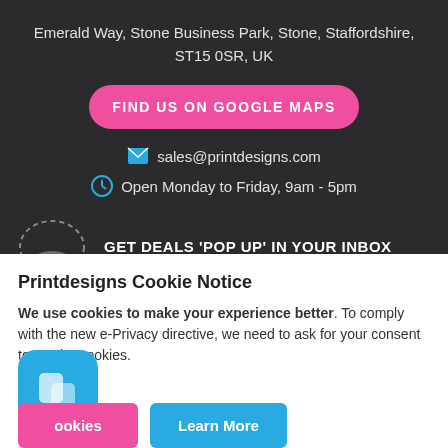Emerald Way, Stone Business Park, Stone, Staffordshire, ST15 0SR, UK
FIND US ON GOOGLE MAPS
sales@printdesigns.com
Open Monday to Friday, 9am - 5pm
GET DEALS 'POP UP' IN YOUR INBOX
Printdesigns Cookie Notice
We use cookies to make your experience better. To comply with the new e-Privacy directive, we need to ask for your consent to set the cookies.
Allow Cookies
Learn More